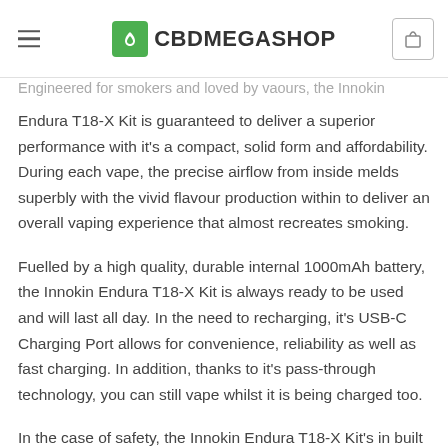CBDMEGASHOP
Engineered for smokers and loved by vaours, the Innokin Endura T18-X Kit is guaranteed to deliver a superior performance with it's a compact, solid form and affordability. During each vape, the precise airflow from inside melds superbly with the vivid flavour production within to deliver an overall vaping experience that almost recreates smoking.
Fuelled by a high quality, durable internal 1000mAh battery, the Innokin Endura T18-X Kit is always ready to be used and will last all day. In the need to recharging, it's USB-C Charging Port allows for convenience, reliability as well as fast charging. In addition, thanks to it's pass-through technology, you can still vape whilst it is being charged too.
In the case of safety, the Innokin Endura T18-X Kit's in built advanced integrated protection ensures any avoidance of